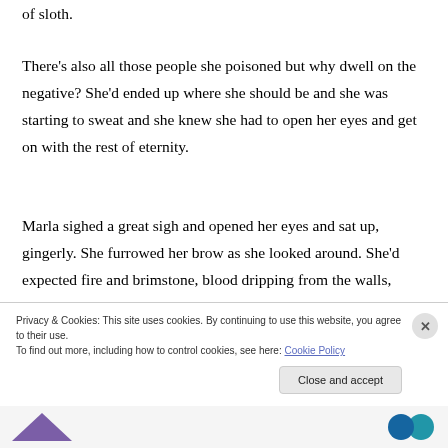of sloth.
There's also all those people she poisoned but why dwell on the negative? She'd ended up where she should be and she was starting to sweat and she knew she had to open her eyes and get on with the rest of eternity.
Marla sighed a great sigh and opened her eyes and sat up, gingerly. She furrowed her brow as she looked around. She'd expected fire and brimstone, blood dripping from the walls, souls a weepin' and a wailin', but what she saw looked a lot like... Studio 54?
Privacy & Cookies: This site uses cookies. By continuing to use this website, you agree to their use.
To find out more, including how to control cookies, see here: Cookie Policy
Close and accept